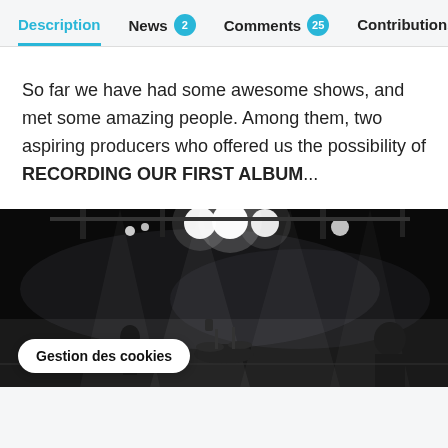Description  News 2  Comments 25  Contributions 7
So far we have had some awesome shows, and met some amazing people. Among them, two aspiring producers who offered us the possibility of RECORDING OUR FIRST ALBUM...
[Figure (photo): Black and white photo of a band performing on stage with bright stage lights and smoke effects. Audience and musicians visible.]
Gestion des cookies